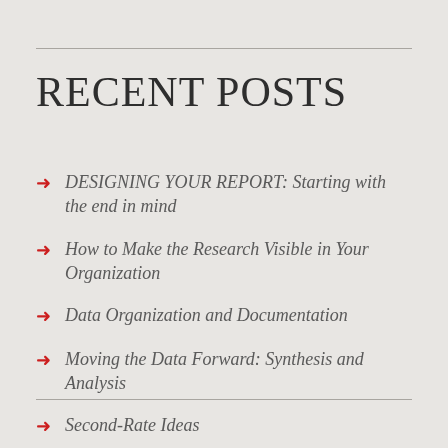RECENT POSTS
DESIGNING YOUR REPORT: Starting with the end in mind
How to Make the Research Visible in Your Organization
Data Organization and Documentation
Moving the Data Forward: Synthesis and Analysis
Second-Rate Ideas